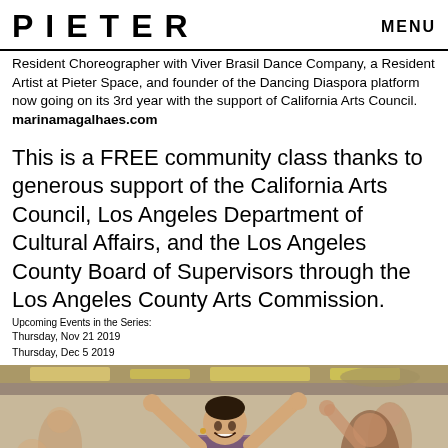PIETER   MENU
Resident Choreographer with Viver Brasil Dance Company, a Resident Artist at Pieter Space, and founder of the Dancing Diaspora platform now going on its 3rd year with the support of California Arts Council. marinamagalhaes.com
This is a FREE community class thanks to generous support of the California Arts Council, Los Angeles Department of Cultural Affairs, and the Los Angeles County Board of Supervisors through the Los Angeles County Arts Commission.
Upcoming Events in the Series:
Thursday, Nov 21 2019
Thursday, Dec 5 2019
[Figure (photo): People dancing in a studio with arms raised, smiling, with metallic ceiling decorations visible above]